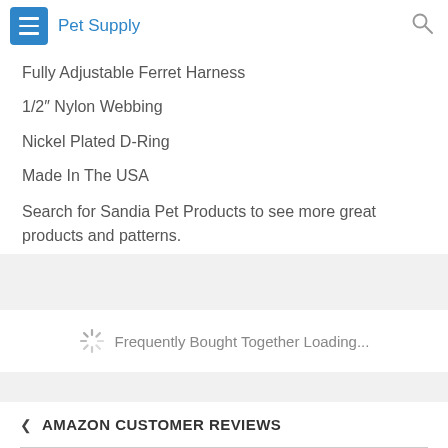Pet Supply
Fully Adjustable Ferret Harness
1/2″ Nylon Webbing
Nickel Plated D-Ring
Made In The USA
Search for Sandia Pet Products to see more great products and patterns.
Frequently Bought Together Loading...
AMAZON CUSTOMER REVIEWS